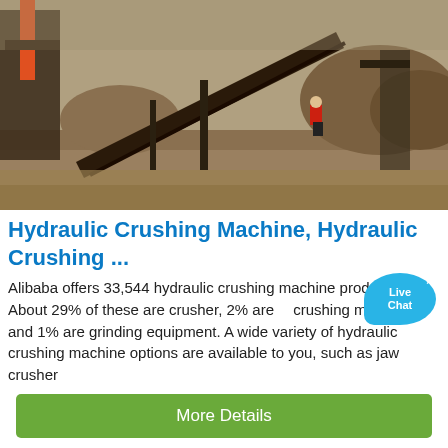[Figure (photo): Industrial crushing/mining machinery site with conveyor belts, gravel piles, and a worker in red at an outdoor quarry operation.]
Hydraulic Crushing Machine, Hydraulic Crushing ...
Alibaba offers 33,544 hydraulic crushing machine products. About 29% of these are crusher, 2% are plastic crushing machines, and 1% are grinding equipment. A wide variety of hydraulic crushing machine options are available to you, such as jaw crusher
More Details
[Figure (photo): Close-up view of large industrial ball mill or rotary drum machinery components in red/orange color at a mining or quarry site.]